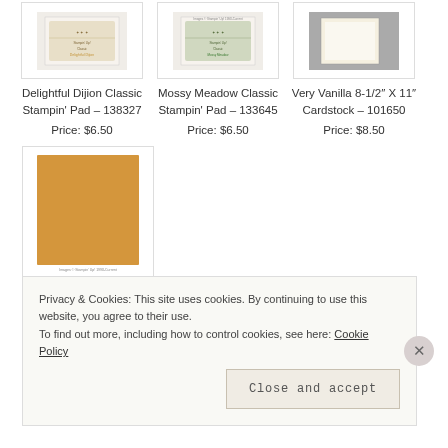[Figure (photo): Delightful Dijion Classic Stampin' Pad product image]
Delightful Dijion Classic Stampin' Pad – 138327
Price: $6.50
[Figure (photo): Mossy Meadow Classic Stampin' Pad product image]
Mossy Meadow Classic Stampin' Pad – 133645
Price: $6.50
[Figure (photo): Very Vanilla 8-1/2" X 11" Cardstock product image]
Very Vanilla 8-1/2" X 11" Cardstock – 101650
Price: $8.50
[Figure (photo): Delightful Dijon 8- cardstock product image showing golden yellow cardstock sheet]
Delightful Dijon 8-
Privacy & Cookies: This site uses cookies. By continuing to use this website, you agree to their use.
To find out more, including how to control cookies, see here: Cookie Policy
Close and accept